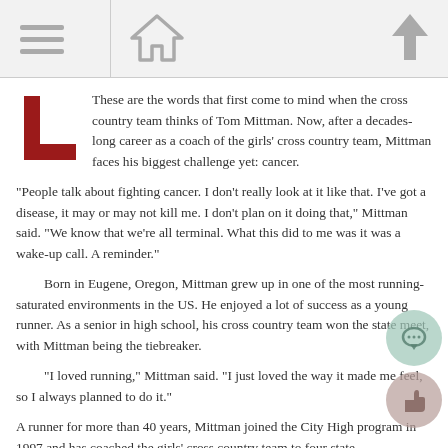[Navigation bar with menu, home, and up-arrow icons]
These are the words that first come to mind when the cross country team thinks of Tom Mittman. Now, after a decades-long career as a coach of the girls' cross country team, Mittman faces his biggest challenge yet: cancer.
“People talk about fighting cancer. I don’t really look at it like that. I’ve got a disease, it may or may not kill me. I don’t plan on it doing that,” Mittman said. “We know that we’re all terminal. What this did to me was it was a wake-up call. A reminder.”
Born in Eugene, Oregon, Mittman grew up in one of the most running-saturated environments in the US. He enjoyed a lot of success as a young runner. As a senior in high school, his cross country team won the state meet, with Mittman being the tiebreaker.
“I loved running,” Mittman said. “I just loved the way it made me feel, so I always planned to do it.”
A runner for more than 40 years, Mittman joined the City High program in 1997 and has coached the girls’ cross country team to four state